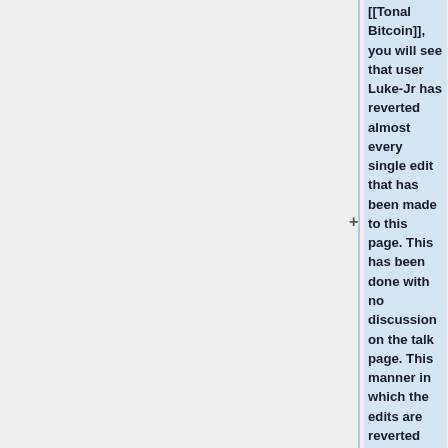[[Tonal Bitcoin]], you will see that user Luke-Jr has reverted almost every single edit that has been made to this page. This has been done with no discussion on the talk page. This manner in which the edits are reverted are done so in a fanatical way, and this applies to several users that have attempted to contribute to